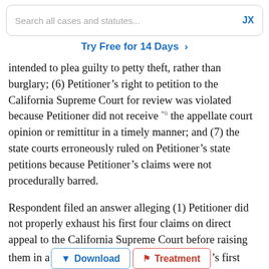Search all cases and statutes... JX
Try Free for 14 Days >
intended to plea guilty to petty theft, rather than burglary; (6) Petitioner’s right to petition to the California Supreme Court for review was violated because Petitioner did not receive *6 the appellate court opinion or remittitur in a timely manner; and (7) the state courts erroneously ruled on Petitioner’s state petitions because Petitioner’s claims were not procedurally barred.
Respondent filed an answer alleging (1) Petitioner did not properly exhaust his first four claims on direct appeal to the California Supreme Court before raising them in a [Download] [Treatment] 's first four claims are procedurally barred because Petitioner failed to obtain a certificate of probable cause; (2) the